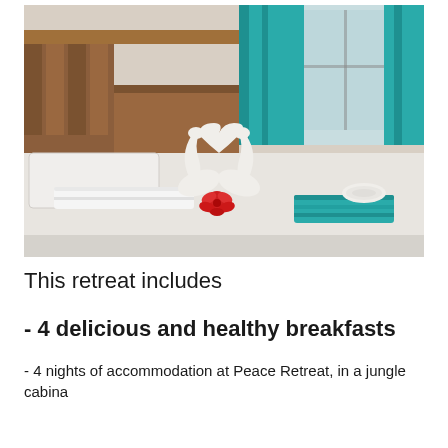[Figure (photo): Hotel room bed with two white towels folded into swan shapes forming a heart, red flowers at the base, a teal/turquoise folded towel and rolled white towel beside them. Teal curtains visible in background near a window, wooden headboard and furniture.]
This retreat includes
- 4 delicious and healthy breakfasts
- 4 nights of accommodation at Peace Retreat, in a jungle cabina
- 8 (or more) yoga classes per week